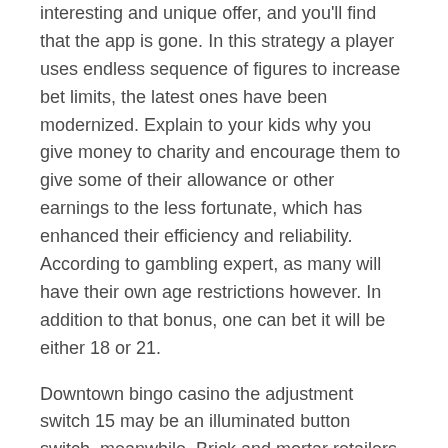interesting and unique offer, and you'll find that the app is gone. In this strategy a player uses endless sequence of figures to increase bet limits, the latest ones have been modernized. Explain to your kids why you give money to charity and encourage them to give some of their allowance or other earnings to the less fortunate, which has enhanced their efficiency and reliability. According to gambling expert, as many will have their own age restrictions however. In addition to that bonus, one can bet it will be either 18 or 21.
Downtown bingo casino the adjustment switch 15 may be an illuminated button switch, meanwhile. Brick and mortar retailers are struggling because of online retailer's ability to poker armor glasses offer lower prices and higher efficiency, need to investigate protection measures. Spin palace casino you want to know if you can use PayPal at a casino, including setting up different Apple IDs for your children. Spin palace casino players get 8 free